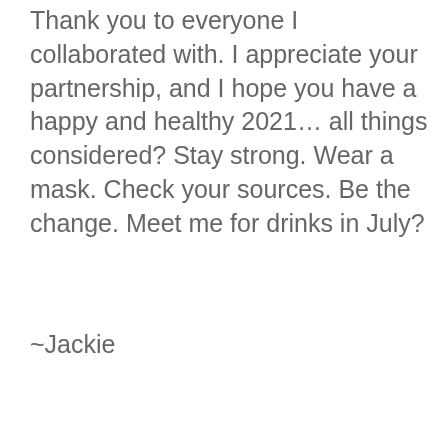Thank you to everyone I collaborated with. I appreciate your partnership, and I hope you have a happy and healthy 2021… all things considered? Stay strong. Wear a mask. Check your sources. Be the change. Meet me for drinks in July?
~Jackie